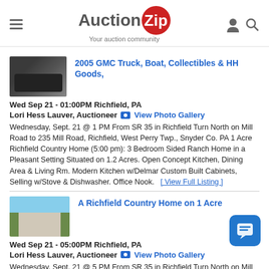AuctionZip — Your auction community
2005 GMC Truck, Boat, Collectibles & HH Goods,
Wed Sep 21 - 01:00PM Richfield, PA
Lori Hess Lauver, Auctioneer   View Photo Gallery
Wednesday, Sept. 21 @ 1 PM From SR 35 in Richfield Turn North on Mill Road to 235 Mill Road, Richfield, West Perry Twp., Snyder Co. PA 1 Acre Richfield Country Home (5:00 pm): 3 Bedroom Sided Ranch Home in a Pleasant Setting Situated on 1.2 Acres. Open Concept Kitchen, Dining Area & Living Rm. Modern Kitchen w/Delmar Custom Built Cabinets, Selling w/Stove & Dishwasher. Office Nook.  [ View Full Listing ]
A Richfield Country Home on 1 Acre
Wed Sep 21 - 05:00PM Richfield, PA
Lori Hess Lauver, Auctioneer   View Photo Gallery